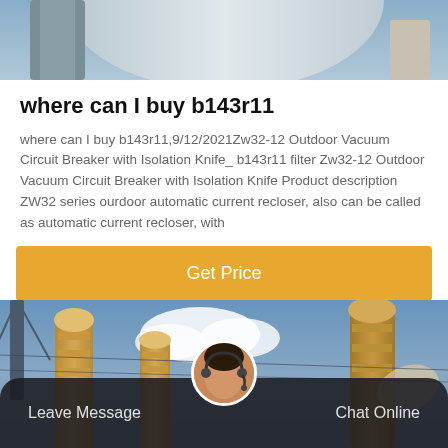[Figure (photo): Top portion of industrial electrical equipment (vacuum circuit breaker/transformer) against sky background]
where can I buy b143r11
where can I buy b143r11,9/12/2021Zw32-12 Outdoor Vacuum Circuit Breaker with Isolation Knife_ b143r11 filter Zw32-12 Outdoor Vacuum Circuit Breaker with Isolation Knife Product description ZW32 series ourdoor automatic current recloser, also can be called as automatic current recloser, with
Get Price
[Figure (photo): Outdoor electrical transformer pillars/insulators against blue sky background]
Leave Message   Chat Online